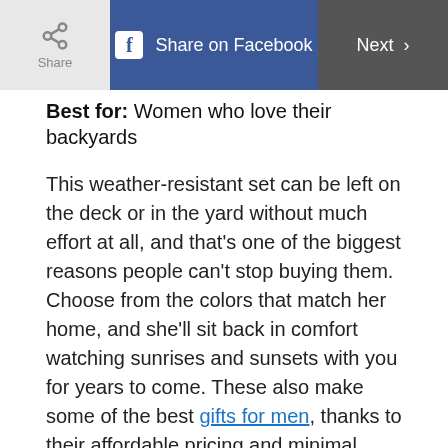Share | Share on Facebook | Next >
Best for: Women who love their backyards
This weather-resistant set can be left on the deck or in the yard without much effort at all, and that's one of the biggest reasons people can't stop buying them. Choose from the colors that match her home, and she'll sit back in comfort watching sunrises and sunsets with you for years to come. These also make some of the best gifts for men, thanks to their affordable pricing and minimal maintenance.
Shop Now